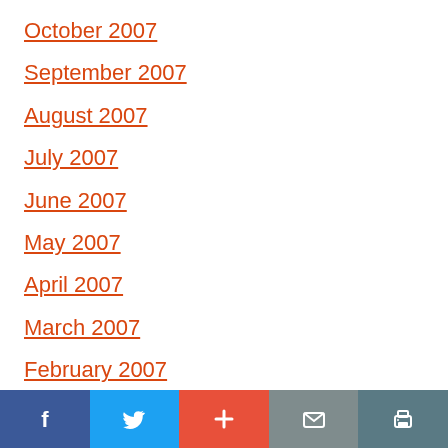October 2007
September 2007
August 2007
July 2007
June 2007
May 2007
April 2007
March 2007
February 2007
[Figure (infographic): Social sharing bar with Facebook, Twitter, Google+, Email, and Print buttons]